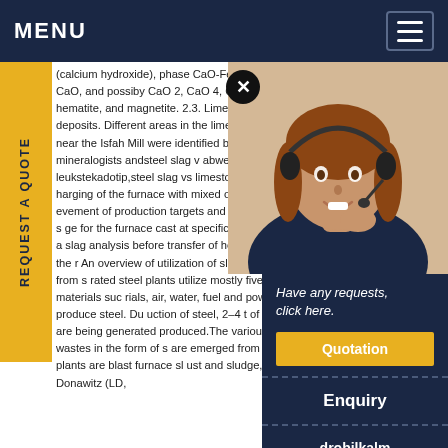MENU
(calcium hydroxide), phase CaO-FeO, and free CaO, and possiby CaO 2, CaO 4, C 2 S, hematite, and magnetite. 2.3. Limestone rock deposits. Different areas in the limestone deposits near the Isfah Mill were identified by the mineralogists andsteel slag v abwe – leukstekadotip,steel slag vs limestone in zi harging of the furnace with mixed ore limestone si evement of production targets and hot metal and s ge for the furnace cast at specific intervals and a slag analysis before transfer of hot metal into the r An overview of utilization of slag and sludge from s rated steel plants utilize mostly five materials suc rials, air, water, fuel and power to produce steel. Du uction of steel, 2–4 t of wastes are being generated produced.The various solid wastes in the form of s are emerged from steel plants are blast furnace sl ust and sludge, Linz–Donawitz (LD,
[Figure (photo): Woman with headset smiling, customer service representative]
Have any requests, click here.
Quotation
Enquiry
drobilkalm@gmail.com
REQUEST A QUOTE